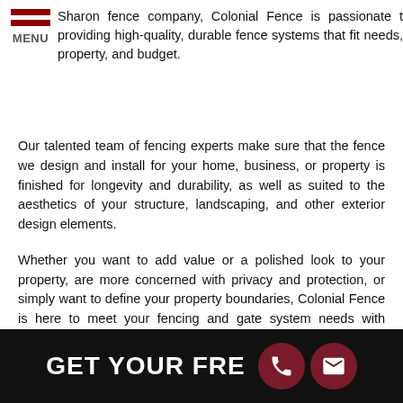Sharon fence company, Colonial Fence is passionate t providing high-quality, durable fence systems that fit needs, property, and budget.
Our talented team of fencing experts make sure that the fence we design and install for your home, business, or property is finished for longevity and durability, as well as suited to the aesthetics of your structure, landscaping, and other exterior design elements.
Whether you want to add value or a polished look to your property, are more concerned with privacy and protection, or simply want to define your property boundaries, Colonial Fence is here to meet your fencing and gate system needs with superior materials and meticulous craftsmanship.
Call Colonial Fence today at (508) 876-4902 for your Free Consultation!
[Figure (other): Dark banner with text GET YOUR FRE... and two circular icons — a phone icon and an envelope/email icon on a dark maroon background]